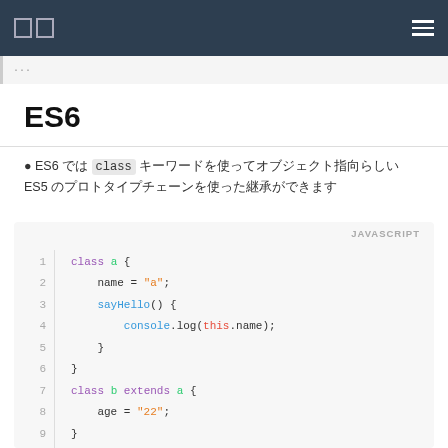ES6
ES6
ES6 では class キーワードを使ってオブジェクト指向らしい ES5 のプロトタイプチェーンを使った継承ができます
[Figure (screenshot): JavaScript code block showing class a with name property and sayHello method, and class b extending a with age property. Lines 1-9+ shown with syntax highlighting.]